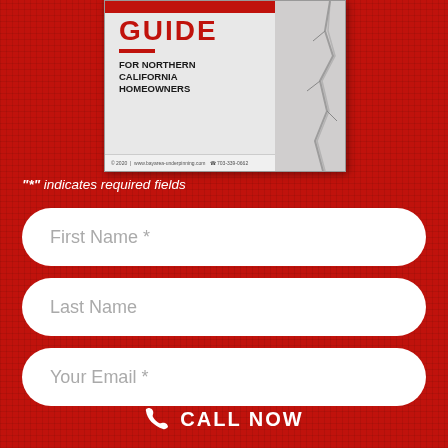[Figure (illustration): A book/guide cover for Northern California Homeowners, showing the word GUIDE in red bold text with a subtitle FOR NORTHERN CALIFORNIA HOMEOWNERS on a light gray background with a crack image on the right side]
"*" indicates required fields
First Name *
Last Name
Your Email *
CALL NOW